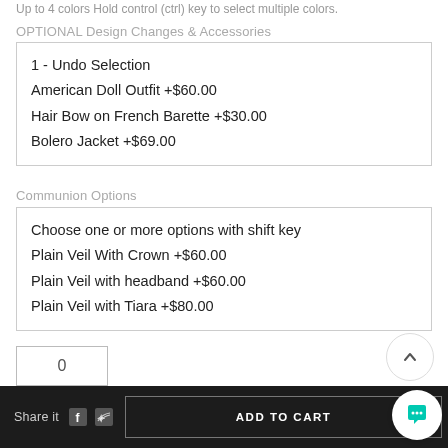Up to 4 colors Hold control (ctrl) key to select multiple colors.
OPTIONAL Design Changes & Accessories
1 - Undo Selection
American Doll Outfit +$60.00
Hair Bow on French Barette +$30.00
Bolero Jacket +$69.00
Communion Options
Choose one or more options with shift key
Plain Veil With Crown +$60.00
Plain Veil with headband +$60.00
Plain Veil with Tiara +$80.00
0
♡ ADD TO WISH LIST
Delivery & Return
Share it
ADD TO CART